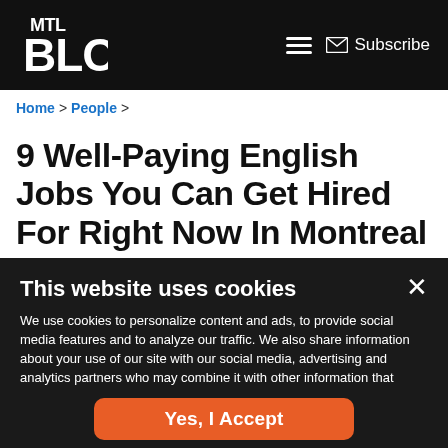MTL Blog | Home > People >
9 Well-Paying English Jobs You Can Get Hired For Right Now In Montreal
This website uses cookies
We use cookies to personalize content and ads, to provide social media features and to analyze our traffic. We also share information about your use of our site with our social media, advertising and analytics partners who may combine it with other information that you've provided to them or that they've collected from your use of their services. Learn More
Yes, I Accept